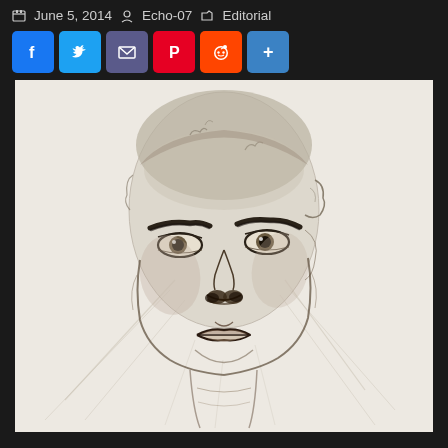June 5, 2014  Echo-07  Editorial
[Figure (illustration): Pencil sketch portrait of a woman with a shaved head, prominent eyebrows, intense gaze, and visible sketch lines around the face and neck on a light background]